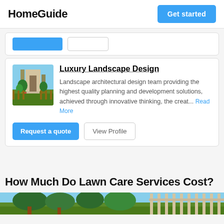HomeGuide  Get started
Request a quote  View Profile (partial card strip)
Luxury Landscape Design
Landscape architectural design team providing the highest quality planning and development solutions, achieved through innovative thinking, the creat... Read More
How Much Do Lawn Care Services Cost?
[Figure (photo): Bottom photo strip of a lawn/garden scene]